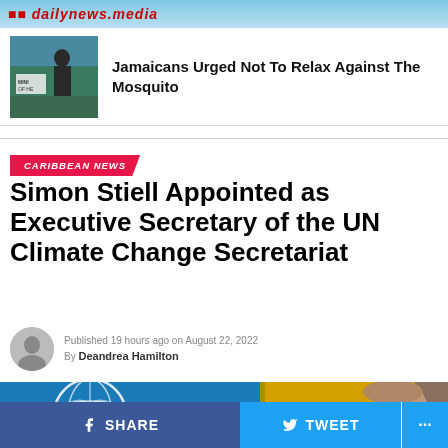dailynewsMedia
Jamaicans Urged Not To Relax Against The Mosquito
CARIBBEAN NEWS
Simon Stiell Appointed as Executive Secretary of the UN Climate Change Secretariat
Published 19 hours ago on August 22, 2022
By Deandrea Hamilton
[Figure (photo): Photo of man with UN flag and Grenada flag in background]
SHARE   TWEET   ...